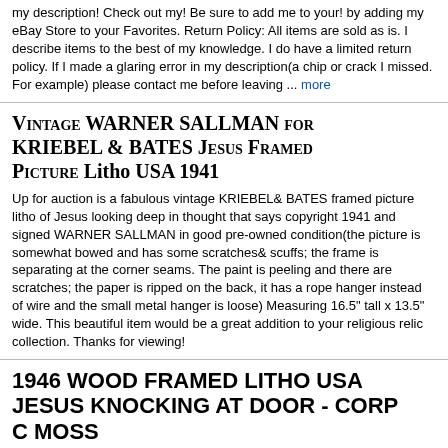my description! Check out my! Be sure to add me to your! by adding my eBay Store to your Favorites. Return Policy: All items are sold as is. I describe items to the best of my knowledge. I do have a limited return policy. If I made a glaring error in my description(a chip or crack I missed. For example) please contact me before leaving ... more
Vintage WARNER SALLMAN for KRIEBEL & BATES Jesus Framed Picture Litho USA 1941
Up for auction is a fabulous vintage KRIEBEL& BATES framed picture litho of Jesus looking deep in thought that says copyright 1941 and signed WARNER SALLMAN in good pre-owned condition(the picture is somewhat bowed and has some scratches& scuffs; the frame is separating at the corner seams. The paint is peeling and there are scratches; the paper is ripped on the back, it has a rope hanger instead of wire and the small metal hanger is loose) Measuring 16.5" tall x 13.5" wide. This beautiful item would be a great addition to your religious relic collection. Thanks for viewing!
1946 WOOD FRAMED LITHO USA JESUS KNOCKING AT DOOR - CORP C MOSS
Old Litho Wooden Framed Religious Print Jesus Knocking at the Door 12 1/2" x 10 1/2" Outer Edge of Frame Size 8" x 10" Print Old Wooden Frame- Sturdy with Light Wear Glass is Clear Color Great on Print Corner Marked: Corp. C. Moss 1946/ Litho in U.S.A. Paper Covered Back Original Wire Hanger Nice Vintage Religious Print! Please let me know if you have any questions and thanks for viewing my auction. Rem&id ViewItemPage4&BldId...